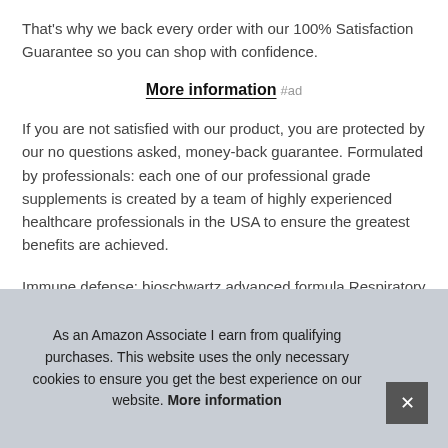That's why we back every order with our 100% Satisfaction Guarantee so you can shop with confidence.
More information #ad
If you are not satisfied with our product, you are protected by our no questions asked, money-back guarantee. Formulated by professionals: each one of our professional grade supplements is created by a team of highly experienced healthcare professionals in the USA to ensure the greatest benefits are achieved.
Immune defense: bioschwartz advanced formula Respiratory & Immune Support with Vitamins C and D and help fortify the imm... affe... egg... with...
As an Amazon Associate I earn from qualifying purchases. This website uses the only necessary cookies to ensure you get the best experience on our website. More information